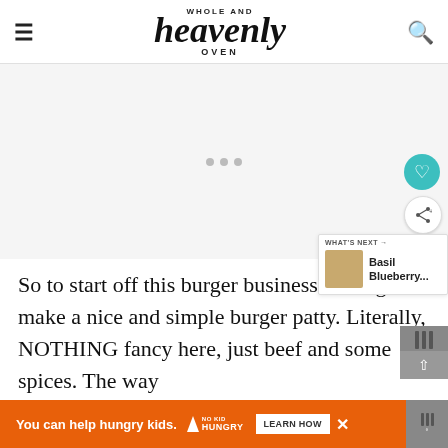Whole and Heavenly Oven
[Figure (other): Advertisement placeholder area with three dots]
So to start off this burger business we're gonna make a nice and simple burger patty. Literally, NOTHING fancy here, just beef and some spices. The way bur…
[Figure (other): Bottom banner ad: 'You can help hungry kids.' No Kid Hungry. LEARN HOW button with close X.]